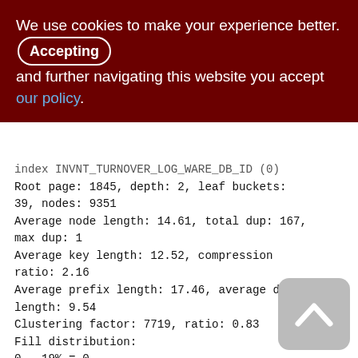We use cookies to make your experience better. By accepting and further navigating this website you accept our policy.
index INVNT_TURNOVER_LOG_WARE_DB_ID (0)
Root page: 1845, depth: 2, leaf buckets: 39, nodes: 9351
Average node length: 14.61, total dup: 167, max dup: 1
Average key length: 12.52, compression ratio: 2.16
Average prefix length: 17.46, average data length: 9.54
Clustering factor: 7719, ratio: 0.83
Fill distribution:
0 - 19% = 0
20 - 39% = 21